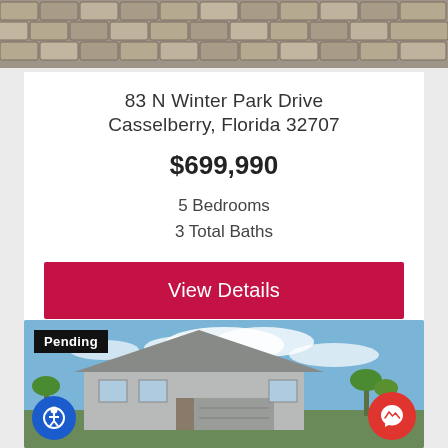[Figure (photo): Aerial or close-up view of brick/cobblestone pavement driveway, top portion of property photo]
83 N Winter Park Drive
Casselberry, Florida 32707
$699,990
5 Bedrooms
3 Total Baths
View Details
[Figure (photo): Exterior photo of a single-story residential home with gray siding, blue sky with clouds, palm trees and vegetation in foreground. Pending badge overlay in top-left corner.]